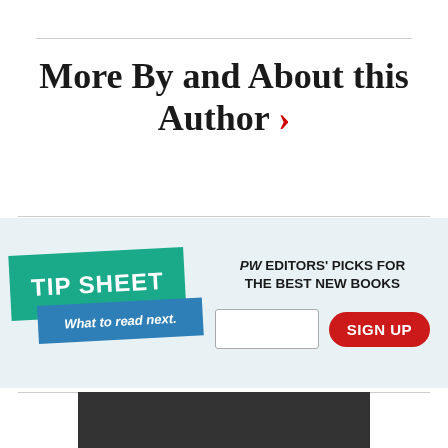More By and About this Author >
[Figure (infographic): PW Tip Sheet newsletter signup banner with teal and blue logo, email input, and red SIGN UP button. Text: PW EDITORS' PICKS FOR THE BEST NEW BOOKS]
[Figure (photo): Dark gray/charcoal image at the bottom of the page]